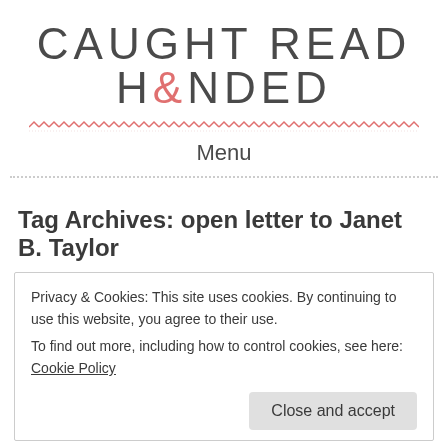CAUGHT READ H&NDED
Menu
Tag Archives: open letter to Janet B. Taylor
Privacy & Cookies: This site uses cookies. By continuing to use this website, you agree to their use.
To find out more, including how to control cookies, see here: Cookie Policy
Close and accept
Posted on October 19, 2015